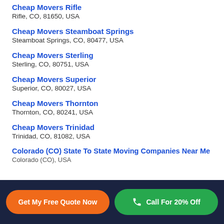Cheap Movers Rifle
Rifle, CO, 81650, USA
Cheap Movers Steamboat Springs
Steamboat Springs, CO, 80477, USA
Cheap Movers Sterling
Sterling, CO, 80751, USA
Cheap Movers Superior
Superior, CO, 80027, USA
Cheap Movers Thornton
Thornton, CO, 80241, USA
Cheap Movers Trinidad
Trinidad, CO, 81082, USA
Colorado (CO) State To State Moving Companies Near Me
Get My Free Quote Now | Call For 20% Off